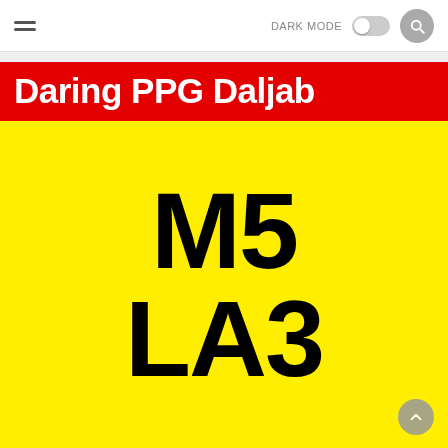DARK MODE [toggle] [search]
Daring PPG Daljab
[Figure (other): Yellow vehicle number plate displaying 'M5 LA3' in large bold black text on yellow background]